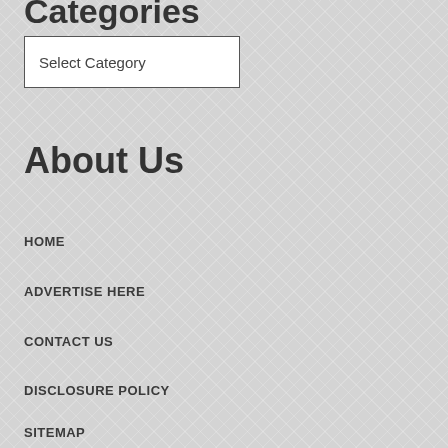Categories
Select Category
About Us
HOME
ADVERTISE HERE
CONTACT US
DISCLOSURE POLICY
SITEMAP